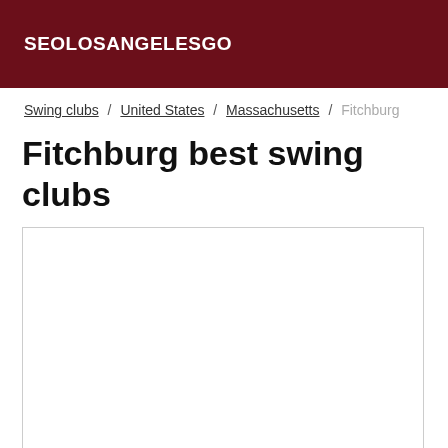SEOLOSANGELESGO
Swing clubs / United States / Massachusetts / Fitchburg
Fitchburg best swing clubs
[Figure (other): Embedded map or content box, white/empty rectangle with border]